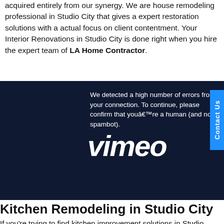acquired entirely from our synergy. We are house remodeling professional in Studio City that gives a expert restoration solutions with a actual focus on client contentment. Your Interior Renovations in Studio City is done right when you hire the expert team of LA Home Contractor.
[Figure (screenshot): Vimeo error overlay on dark navy background showing 'We detected a high number of errors from your connection. To continue, please confirm that youâ€™re a human (and not a spambot).' with Vimeo logo and a 'Contact Us' blue button on the right side.]
Kitchen Remodeling in Studio City
If you're trying to find kitchen improvement solutions in Studio